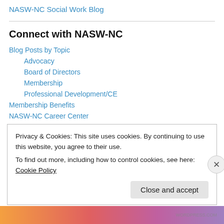NASW-NC Social Work Blog
Connect with NASW-NC
Blog Posts by Topic
Advocacy
Board of Directors
Membership
Professional Development/CE
Membership Benefits
NASW-NC Career Center
Privacy & Cookies: This site uses cookies. By continuing to use this website, you agree to their use.
To find out more, including how to control cookies, see here: Cookie Policy
Close and accept